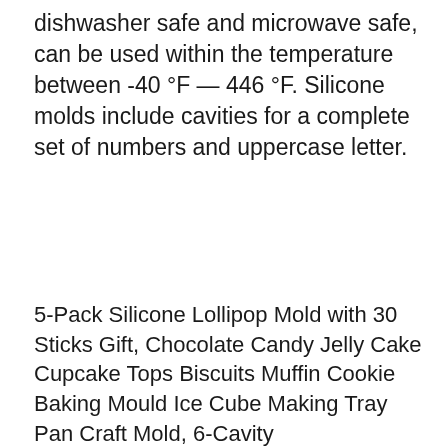dishwasher safe and microwave safe, can be used within the temperature between -40 °F — 446 °F. Silicone molds include cavities for a complete set of numbers and uppercase letter.
5-Pack Silicone Lollipop Mold with 30 Sticks Gift, Chocolate Candy Jelly Cake Cupcake Tops Biscuits Muffin Cookie Baking Mould Ice Cube Making Tray Pan Craft Mold, 6-Cavity
5-Pack Silicone Lollipop Mold with 30 Sticks Gift, Chocolate Candy Jelly Cake Cupcake Tops Biscuits